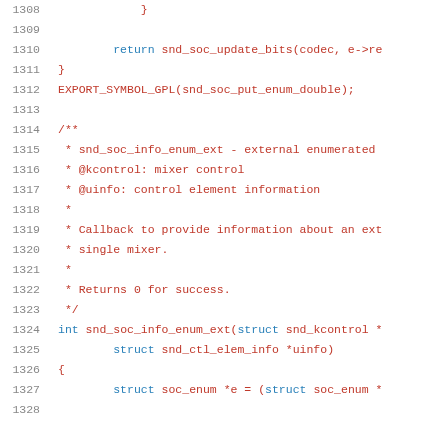Source code listing lines 1308-1328, C language kernel/driver code with comments
1308:     }
1309:
1310:         return snd_soc_update_bits(codec, e->re
1311: }
1312: EXPORT_SYMBOL_GPL(snd_soc_put_enum_double);
1313:
1314: /**
1315:  * snd_soc_info_enum_ext - external enumerated
1316:  * @kcontrol: mixer control
1317:  * @uinfo: control element information
1318:  *
1319:  * Callback to provide information about an ext
1320:  * single mixer.
1321:  *
1322:  * Returns 0 for success.
1323:  */
1324: int snd_soc_info_enum_ext(struct snd_kcontrol *
1325:         struct snd_ctl_elem_info *uinfo)
1326: {
1327:         struct soc_enum *e = (struct soc_enum *
1328: